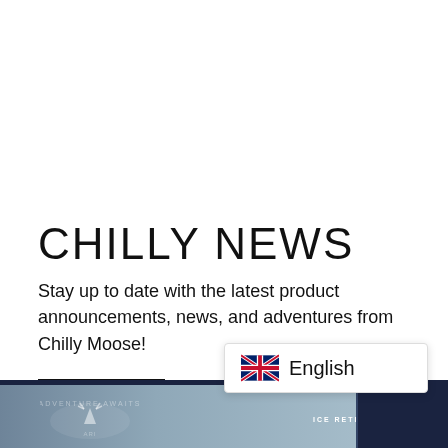CHILLY NEWS
Stay up to date with the latest product announcements, news, and adventures from Chilly Moose!
[Figure (screenshot): BLOG button with border]
[Figure (screenshot): Language selector popup showing UK flag and English text, overlaid on bottom product image strip showing dark navy header bar, outdoor/moose branding on the left and ICE RETENTION label on the right]